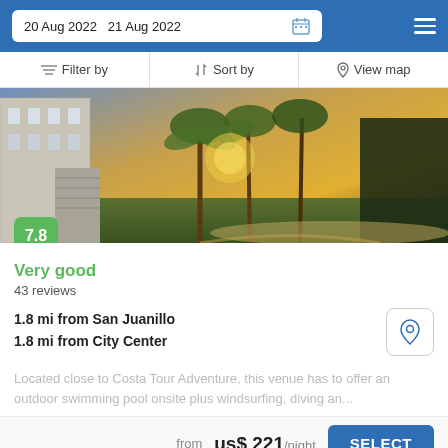20 Aug 2022   21 Aug 2022
Filter by   Sort by   View map
[Figure (photo): Hotel exterior with palm trees and sunset in background]
Very good
43 reviews
1.8 mi from San Juanillo
1.8 mi from City Center
Located close to Costa Tour Adventure, this venue has to offer an outdoor swimming pool onsite plus windsurfing, diving an...
from us$ 221/night
SELECT
Booked.net uses cookies that are strictly necessary for its functioning. We do not collect analytical and marketing cookies.tel